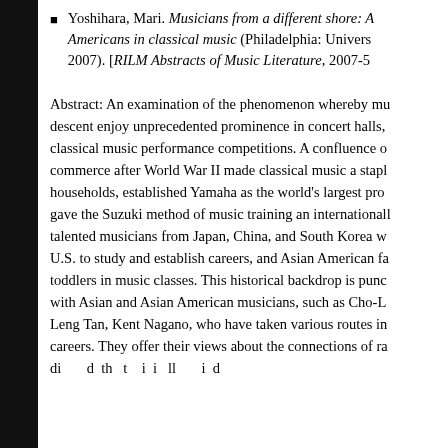Yoshihara, Mari. Musicians from a different shore: Americans in classical music (Philadelphia: Univers… 2007). [RILM Abstracts of Music Literature, 2007-5…
Abstract: An examination of the phenomenon whereby mu… descent enjoy unprecedented prominence in concert halls, classical music performance competitions. A confluence o… commerce after World War II made classical music a stapl… households, established Yamaha as the world's largest pro… gave the Suzuki method of music training an international… talented musicians from Japan, China, and South Korea w… U.S. to study and establish careers, and Asian American fa… toddlers in music classes. This historical backdrop is punc… with Asian and Asian American musicians, such as Cho-L… Leng Tan, Kent Nagano, who have taken various routes in… careers. They offer their views about the connections of ra… di… d th t i i ll i d